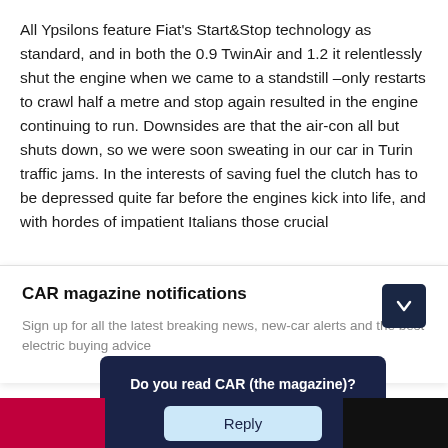All Ypsilons feature Fiat's Start&Stop technology as standard, and in both the 0.9 TwinAir and 1.2 it relentlessly shut the engine when we came to a standstill –only restarts to crawl half a metre and stop again resulted in the engine continuing to run. Downsides are that the air-con all but shuts down, so we were soon sweating in our car in Turin traffic jams. In the interests of saving fuel the clutch has to be depressed quite far before the engines kick into life, and with hordes of impatient Italians those crucial
CAR magazine notifications
Sign up for all the latest breaking news, new-car alerts and the best electric buying advice
Do you read CAR (the magazine)?
Reply